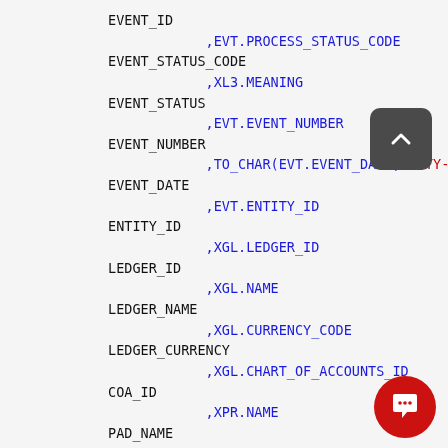EVENT_ID
            ,EVT.PROCESS_STATUS_CODE
EVENT_STATUS_CODE
            ,XL3.MEANING
EVENT_STATUS
            ,EVT.EVENT_NUMBER
EVENT_NUMBER
            ,TO_CHAR(EVT.EVENT_DATE,'YYYY-MM-DD')
EVENT_DATE
            ,EVT.ENTITY_ID
ENTITY_ID
            ,XGL.LEDGER_ID
LEDGER_ID
            ,XGL.NAME
LEDGER_NAME
            ,XGL.CURRENCY_CODE
LEDGER_CURRENCY
            ,XGL.CHART_OF_ACCOUNTS_ID
COA_ID
            ,XPR.NAME
PAD_NAME